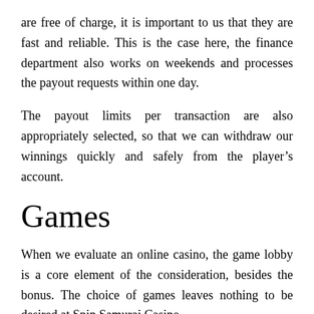are free of charge, it is important to us that they are fast and reliable. This is the case here, the finance department also works on weekends and processes the payout requests within one day.
The payout limits per transaction are also appropriately selected, so that we can withdraw our winnings quickly and safely from the player’s account.
Games
When we evaluate an online casino, the game lobby is a core element of the consideration, besides the bonus. The choice of games leaves nothing to be desired at Spin Samurai Casino.
The popular online slots from NetEnt are represented in the collection and more games for the players.